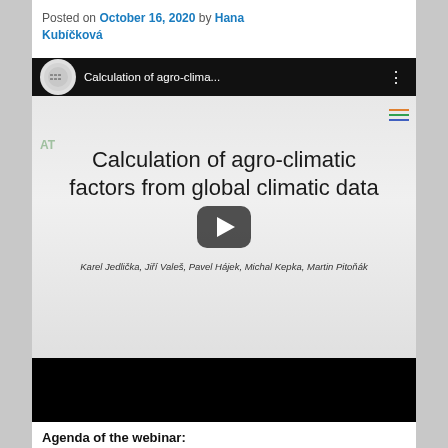Posted on October 16, 2020 by Hana Kubíčková
[Figure (screenshot): Embedded YouTube video player showing a presentation slide. The top bar shows the YouTube logo circle and the title 'Calculation of agro-clima...' with a three-dot menu. The slide content shows 'Calculation of agro-climatic factors from global climatic data' with authors Karel Jedlička, Jiří Valeš, Pavel Hájek, Michal Kepka, Martin Pitoňák. A play button overlay is visible in the center.]
[Figure (screenshot): A black rectangle representing the bottom portion of the video embed or a second video thumbnail area, fully black.]
Agenda of the webinar: